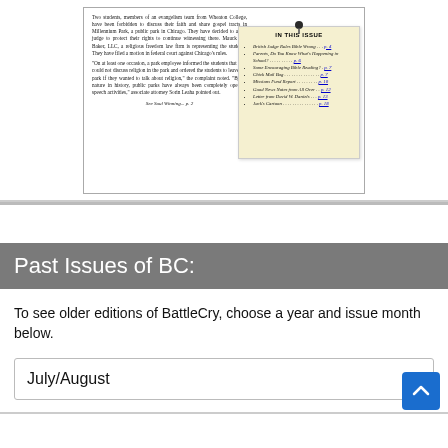[Figure (screenshot): A scanned newsletter page showing a two-column layout. Left column has article text about students from Wheaton College forbidden to discuss faith in Millennium Park Chicago. Right column shows a 'In This Issue' box on a yellow sticky note style background with a pushpin graphic, listing: British Judge Rules Bible Wrong...p. 4, Parents, Do You Know What's Happening in School?...p. 6, Some Encouraging Bible Reading?...p. 7, Chick Mail Bag...p. 7, Missions Fund Report...p. 10, Good News Notes from All Over...p. 12, Letter from David W. Daniels...p. 13, Jack's Cartoon...p. 18. At bottom: See Soul Winning... p. 2]
Past Issues of BC:
To see older editions of BattleCry, choose a year and issue month below.
July/August (dropdown selector)